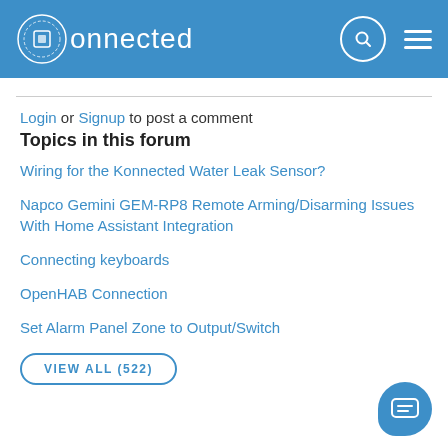konnected
Login or Signup to post a comment
Topics in this forum
Wiring for the Konnected Water Leak Sensor?
Napco Gemini GEM-RP8 Remote Arming/Disarming Issues With Home Assistant Integration
Connecting keyboards
OpenHAB Connection
Set Alarm Panel Zone to Output/Switch
VIEW ALL (522)